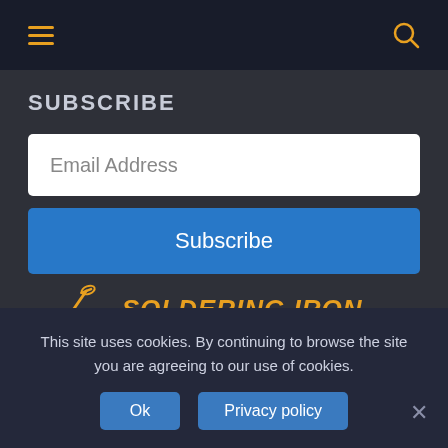Navigation bar with hamburger menu and search icon
SUBSCRIBE
Email Address
Subscribe
[Figure (logo): Soldering iron icon with orange text 'SOLDERING IRON GUIDE']
This site uses cookies. By continuing to browse the site you are agreeing to our use of cookies.
Ok
Privacy policy